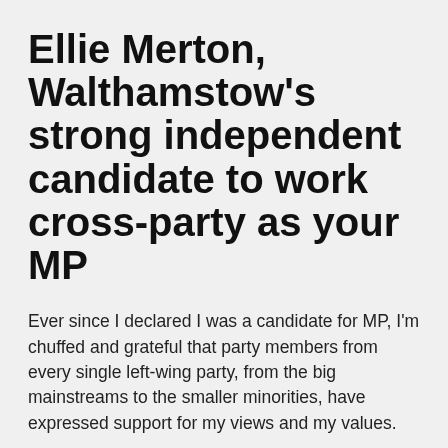Ellie Merton, Walthamstow's strong independent candidate to work cross-party as your MP
Ever since I declared I was a candidate for MP, I'm chuffed and grateful that party members from every single left-wing party, from the big mainstreams to the smaller minorities, have expressed support for my views and my values.
I'm humbled that so many have got in contact from around the country, knowing me from my human